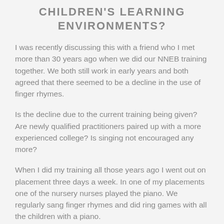CHILDREN'S LEARNING ENVIRONMENTS?
I was recently discussing this with a friend who I met more than 30 years ago when we did our NNEB training together. We both still work in early years and both agreed that there seemed to be a decline in the use of finger rhymes.
Is the decline due to the current training being given? Are newly qualified practitioners paired up with a more experienced college? Is singing not encouraged any more?
When I did my training all those years ago I went out on placement three days a week. In one of my placements one of the nursery nurses played the piano. We regularly sang finger rhymes and did ring games with all the children with a piano.